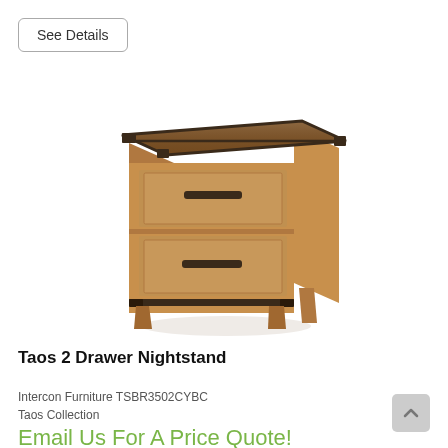See Details
[Figure (photo): Taos 2 Drawer Nightstand - rustic wood nightstand with two drawers, dark metal hardware and accents, on a white background]
Taos 2 Drawer Nightstand
Intercon Furniture TSBR3502CYBC
Taos Collection
Email Us For A Price Quote!